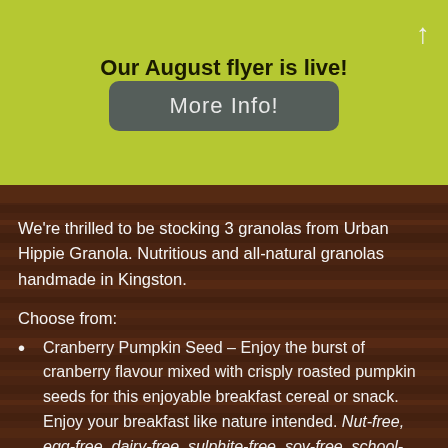Our August flyer is live!
More Info!
We're thrilled to be stocking 3 granolas from Urban Hippie Granola. Nutritious and all-natural granolas handmade in Kingston.
Choose from:
Cranberry Pumpkin Seed – Enjoy the burst of cranberry flavour mixed with crisply roasted pumpkin seeds for this enjoyable breakfast cereal or snack. Enjoy your breakfast like nature intended. Nut-free, egg-free, dairy-free, sulphite-free, soy-free, school-approved! High in fibre. Perfect for pre/post workouts.Great for road trips, hiking,